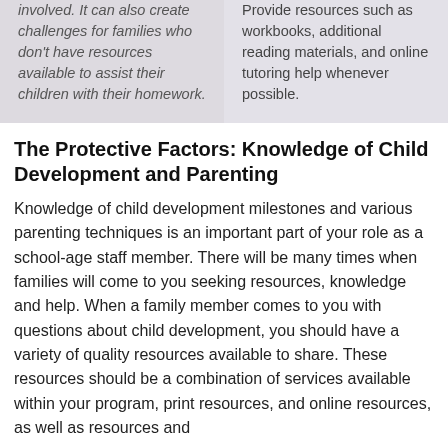involved. It can also create challenges for families who don't have resources available to assist their children with their homework.
Provide resources such as workbooks, additional reading materials, and online tutoring help whenever possible.
The Protective Factors: Knowledge of Child Development and Parenting
Knowledge of child development milestones and various parenting techniques is an important part of your role as a school-age staff member. There will be many times when families will come to you seeking resources, knowledge and help. When a family member comes to you with questions about child development, you should have a variety of quality resources available to share. These resources should be a combination of services available within your program, print resources, and online resources, as well as resources and